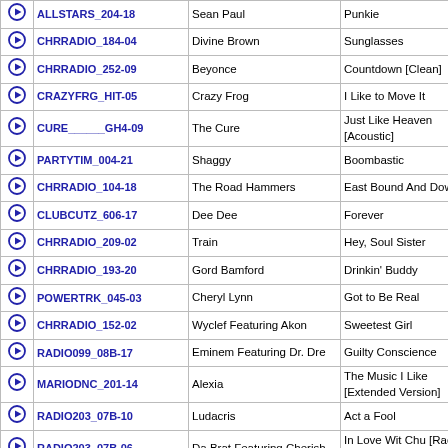|  | Code | Artist | Title |
| --- | --- | --- | --- |
| ▶ | ALLSTARS_204-18 | Sean Paul | Punkie |
| ▶ | CHRRADIO_184-04 | Divine Brown | Sunglasses |
| ▶ | CHRRADIO_252-09 | Beyonce | Countdown [Clean] |
| ▶ | CRAZYFRG_HIT-05 | Crazy Frog | I Like to Move It |
| ▶ | CURE______GH4-09 | The Cure | Just Like Heaven [Acoustic] |
| ▶ | PARTYTIM_004-21 | Shaggy | Boombastic |
| ▶ | CHRRADIO_104-18 | The Road Hammers | East Bound And Down |
| ▶ | CLUBCUTZ_606-17 | Dee Dee | Forever |
| ▶ | CHRRADIO_209-02 | Train | Hey, Soul Sister |
| ▶ | CHRRADIO_193-20 | Gord Bamford | Drinkin' Buddy |
| ▶ | POWERTRK_045-03 | Cheryl Lynn | Got to Be Real |
| ▶ | CHRRADIO_152-02 | Wyclef Featuring Akon | Sweetest Girl |
| ▶ | RADIO099_08B-17 | Eminem Featuring Dr. Dre | Guilty Conscience |
| ▶ | MARIODNC_201-14 | Alexia | The Music I Like [Extended Version] |
| ▶ | RADIO203_07B-10 | Ludacris | Act a Fool |
| ▶ | RADIO203_07B-06 | Da Brat Featuring Cherish | In Love Wit Chu [Radio Edit] |
| ▶ | BENFOLD5_RTS-10 | Ben Folds | Rockin' the Suburbs |
| ▶ | STUDIO54_STA-08 | The Miracles | Love Machine (Part 1) |
| ▶ | POWERTRK_152-01 | Michael Jackson | Don't Stop 'til You Get Enough |
| ▶ | RADIO099_06A-11 | 2-4 Family | Lean on Me |
| ▶ | GROOVEST_009-17 | Las Ketchup | Ketchup Song (Hey Hey) |